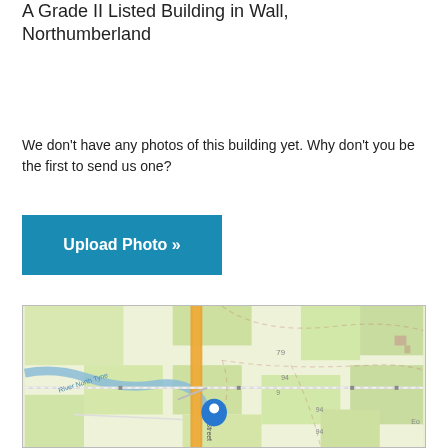A Grade II Listed Building in Wall, Northumberland
We don't have any photos of this building yet. Why don't you be the first to send us one?
[Figure (other): Blue button labeled 'Upload Photo »']
[Figure (map): OpenStreetMap showing Wall, Northumberland. Features include River North Tyne, Front Street, a main road (orange), and a blue location pin marker. Zoom controls (+/-) visible in top-left corner.]